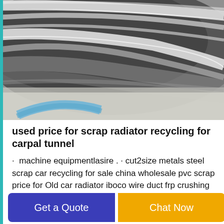[Figure (photo): Close-up photograph of shiny metallic scrap material, likely aluminum or steel strips/coils, with a blue curved marking visible on a light background at the bottom.]
used price for scrap radiator recycling for carpal tunnel
· machine equipmentlasire . · cut2size metals steel scrap car recycling for sale china wholesale pvc scrap price for Old car radiator iboco wire duct frp crushing recovery line for outer